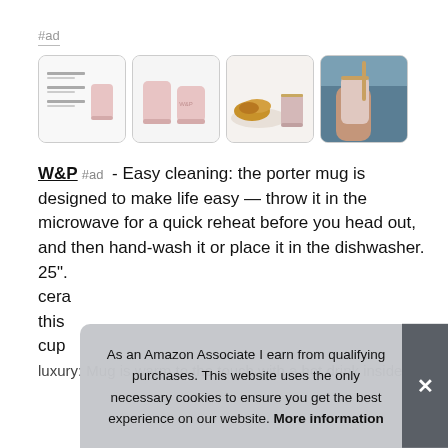#ad
[Figure (photo): Four product images of W&P Porter Mug in pink/blush: (1) product info card with mug; (2) two mugs side by side; (3) mug with croissants on a plate; (4) person in denim jacket holding mug]
W&P #ad - Easy cleaning: the porter mug is designed to make life easy — throw it in the microwave for a quick reheat before you head out, and then hand-wash it or place it in the dishwasher. 25". cera this cup
As an Amazon Associate I earn from qualifying purchases. This website uses the only necessary cookies to ensure you get the best experience on our website. More information